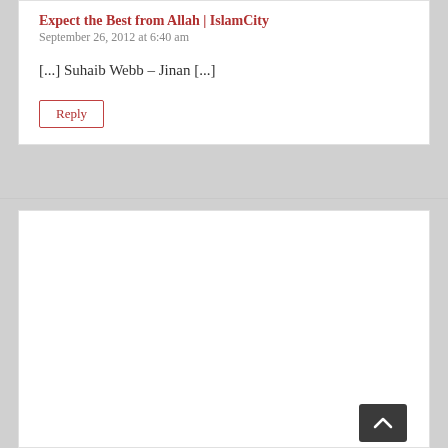Expect the Best from Allah | IslamCity
September 26, 2012 at 6:40 am
[...] Suhaib Webb – Jinan [...]
Reply